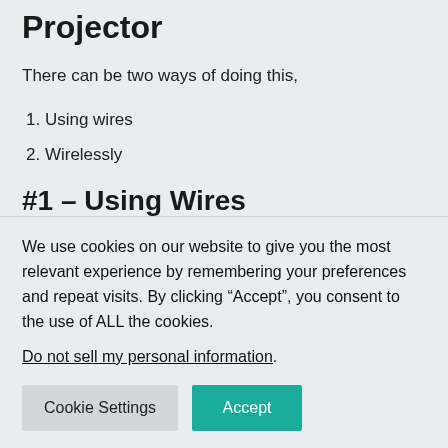Projector
There can be two ways of doing this,
1. Using wires
2. Wirelessly
#1 – Using Wires
We use cookies on our website to give you the most relevant experience by remembering your preferences and repeat visits. By clicking “Accept”, you consent to the use of ALL the cookies.
Do not sell my personal information.